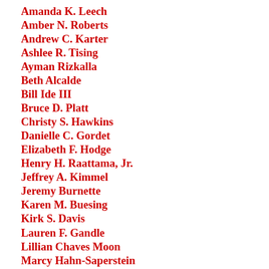Amanda K. Leech
Amber N. Roberts
Andrew C. Karter
Ashlee R. Tising
Ayman Rizkalla
Beth Alcalde
Bill Ide III
Bruce D. Platt
Christy S. Hawkins
Danielle C. Gordet
Elizabeth F. Hodge
Henry H. Raattama, Jr.
Jeffrey A. Kimmel
Jeremy Burnette
Karen M. Buesing
Kirk S. Davis
Lauren F. Gandle
Lillian Chaves Moon
Marcy Hahn-Saperstein
Martin G. Burkett
Martin Monaco
Martin R. Dix